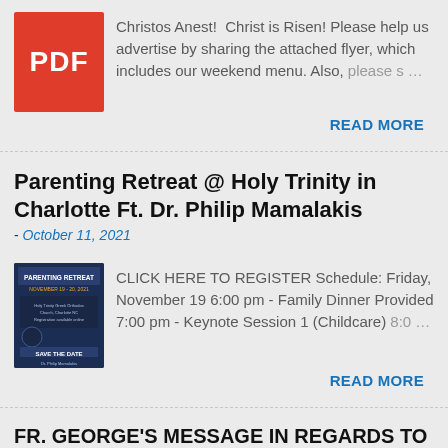[Figure (illustration): Red PDF icon thumbnail with white PDF text]
Christos Anest!  Christ is Risen! Please help us advertise by sharing the attached flyer, which includes our weekend menu. Also, please s…
READ MORE
Parenting Retreat @ Holy Trinity in Charlotte Ft. Dr. Philip Mamalakis
- October 11, 2021
[Figure (photo): Dark blue event flyer for Parenting Retreat November 19-20 2021 Save the Date Dr. Philip Mamalakis]
CLICK HERE TO REGISTER Schedule: Friday, November 19 6:00 pm - Family Dinner Provided 7:00 pm - Keynote Session 1 (Childcare) 8:0…
READ MORE
FR. GEORGE'S MESSAGE IN REGARDS TO